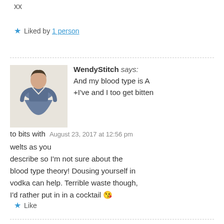xx
★ Liked by 1 person
WendyStitch says: And my blood type is A +I've and I too get bitten to bits with welts as you describe so I'm not sure about the blood type theory! Dousing yourself in vodka can help. Terrible waste though, I'd rather put in in a cocktail 😘
August 23, 2017 at 12:56 pm
★ Like